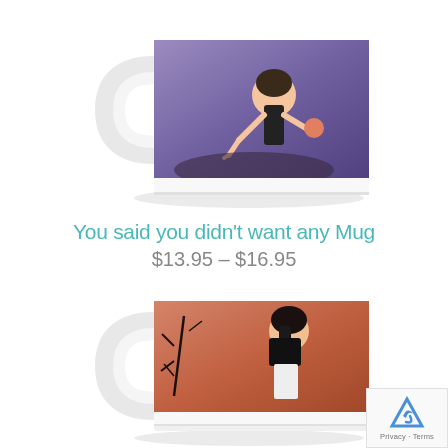[Figure (photo): White ceramic coffee mug with illustrated anime-style artwork showing a girl in a dark outfit sitting, with purple/blue background tones. The mug handle is visible on the left side.]
You said you didn’t want any Mug
$13.95 – $16.95
[Figure (photo): White ceramic coffee mug with illustrated artwork showing a girl with dark hair in a black top against a warm orange/peach background with dark plant/branch designs. The mug handle is visible on the left side.]